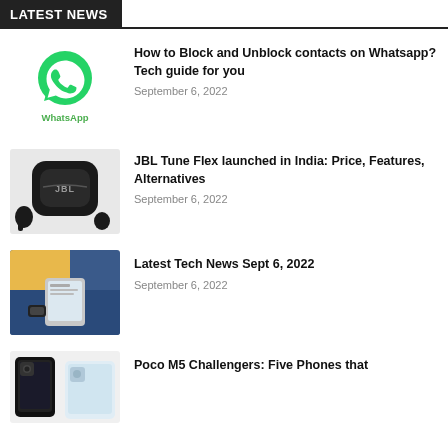LATEST NEWS
How to Block and Unblock contacts on Whatsapp? Tech guide for you
September 6, 2022
[Figure (logo): WhatsApp logo with green phone icon and WhatsApp text below]
JBL Tune Flex launched in India: Price, Features, Alternatives
September 6, 2022
[Figure (photo): JBL Tune Flex wireless earbuds in black with charging case]
Latest Tech News Sept 6, 2022
September 6, 2022
[Figure (photo): Person using a smartphone with smartwatch on wrist]
Poco M5 Challengers: Five Phones that